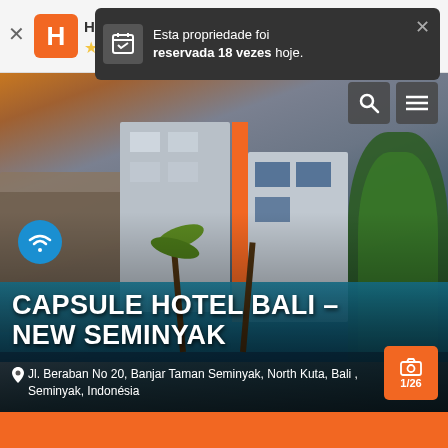[Figure (screenshot): Hostelworld app header with logo, 4 orange stars, and a dark notification popup saying 'Esta propriedade foi reservada 18 vezes hoje.']
[Figure (photo): Exterior photo of Capsule Hotel Bali – New Seminyak showing a modern multi-story building with orange accents, palm trees, and a swimming pool in the foreground]
CAPSULE HOTEL BALI – NEW SEMINYAK
Jl. Beraban No 20, Banjar Taman Seminyak, North Kuta, Bali , Seminyak, Indonésia
1/26